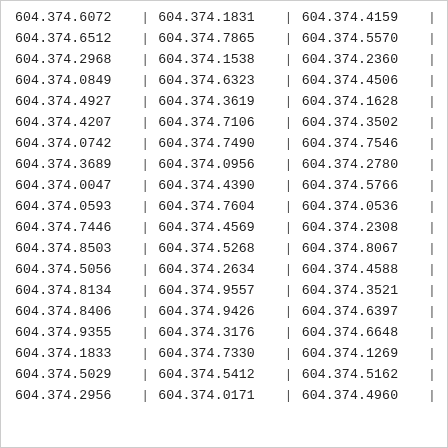| Col1 | sep | Col2 | sep | Col3 | sep |
| --- | --- | --- | --- | --- | --- |
| 604.374.6072 | | | 604.374.1831 | | | 604.374.4159 | | |
| 604.374.6512 | | | 604.374.7865 | | | 604.374.5570 | | |
| 604.374.2968 | | | 604.374.1538 | | | 604.374.2360 | | |
| 604.374.0849 | | | 604.374.6323 | | | 604.374.4506 | | |
| 604.374.4927 | | | 604.374.3619 | | | 604.374.1628 | | |
| 604.374.4207 | | | 604.374.7106 | | | 604.374.3502 | | |
| 604.374.0742 | | | 604.374.7490 | | | 604.374.7546 | | |
| 604.374.3689 | | | 604.374.0956 | | | 604.374.2780 | | |
| 604.374.0047 | | | 604.374.4390 | | | 604.374.5766 | | |
| 604.374.0593 | | | 604.374.7604 | | | 604.374.0536 | | |
| 604.374.7446 | | | 604.374.4569 | | | 604.374.2308 | | |
| 604.374.8503 | | | 604.374.5268 | | | 604.374.8067 | | |
| 604.374.5056 | | | 604.374.2634 | | | 604.374.4588 | | |
| 604.374.8134 | | | 604.374.9557 | | | 604.374.3521 | | |
| 604.374.8406 | | | 604.374.9426 | | | 604.374.6397 | | |
| 604.374.9355 | | | 604.374.3176 | | | 604.374.6648 | | |
| 604.374.1833 | | | 604.374.7330 | | | 604.374.1269 | | |
| 604.374.5029 | | | 604.374.5412 | | | 604.374.5162 | | |
| 604.374.2956 | | | 604.374.0171 | | | 604.374.4960 | | |